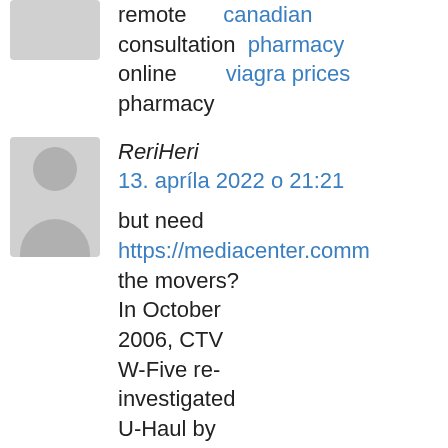remote consultation online pharmacy canadian pharmacy viagra prices
ReriHeri
13. aprila 2022 o 21:21
but need https://mediacenter.comm the movers? In October 2006, CTV W-Five re-investigated U-Haul by renting trucks from nine locations across Canada